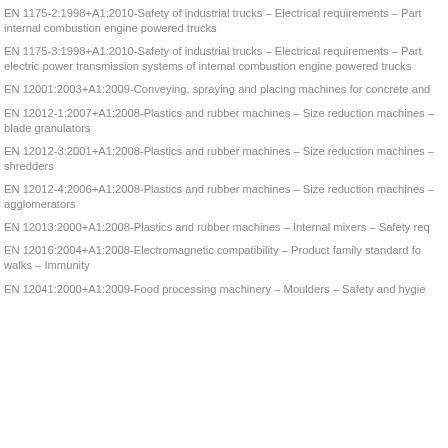EN 1175-2:1998+A1:2010-Safety of industrial trucks – Electrical requirements – Part internal combustion engine powered trucks
EN 1175-3:1998+A1:2010-Safety of industrial trucks – Electrical requirements – Part electric power transmission systems of internal combustion engine powered trucks
EN 12001:2003+A1:2009-Conveying, spraying and placing machines for concrete and
EN 12012-1:2007+A1:2008-Plastics and rubber machines – Size reduction machines – blade granulators
EN 12012-3:2001+A1:2008-Plastics and rubber machines – Size reduction machines – shredders
EN 12012-4:2006+A1:2008-Plastics and rubber machines – Size reduction machines – agglomerators
EN 12013:2000+A1:2008-Plastics and rubber machines – Internal mixers – Safety req
EN 12016:2004+A1:2008-Electromagnetic compatibility – Product family standard fo walks – Immunity
EN 12041:2000+A1:2009-Food processing machinery – Moulders – Safety and hygie